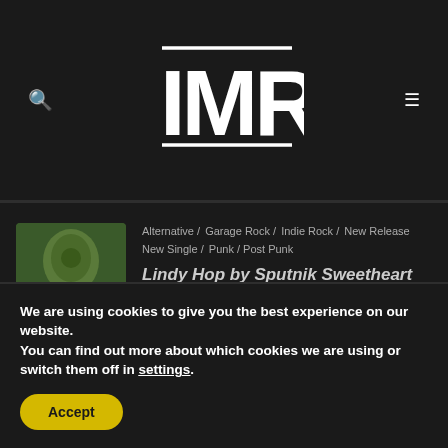IMR
Alternative / Garage Rock / Indie Rock / New Release / New Single / Punk / Post Punk
Lindy Hop by Sputnik Sweetheart
We are using cookies to give you the best experience on our website.
You can find out more about which cookies we are using or switch them off in settings.
Accept